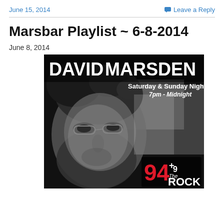June 15, 2014     Leave a Reply
Marsbar Playlist ~ 6-8-2014
June 8, 2014
[Figure (photo): Black and white promotional photo of David Marsden with text overlay: DAVID MARSDEN, Saturday & Sunday Nights, 7pm - Midnight, and 94.9 The Rock logo in bottom right corner]